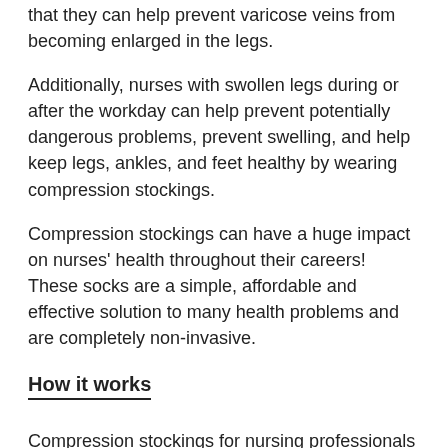that they can help prevent varicose veins from becoming enlarged in the legs.
Additionally, nurses with swollen legs during or after the workday can help prevent potentially dangerous problems, prevent swelling, and help keep legs, ankles, and feet healthy by wearing compression stockings.
Compression stockings can have a huge impact on nurses' health throughout their careers! These socks are a simple, affordable and effective solution to many health problems and are completely non-invasive.
How it works
Compression stockings for nursing professionals work by squeezing the tissue in the legs and helping blood more easily defy gravity and return to the heart. As nurses age, their blood vessel walls begin to weaken. This inhibits circulation, hinders the free flow of blood, and can cause blood to pool in the legs and lower extremities.